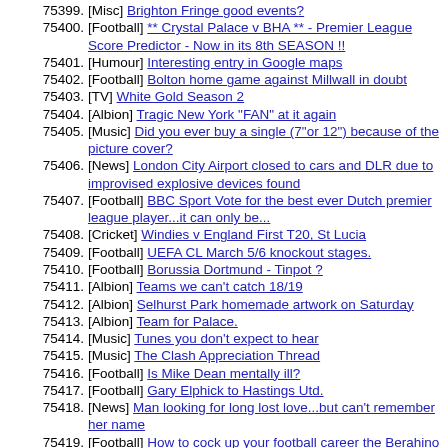75399. [Misc] Brighton Fringe good events?
75400. [Football] ** Crystal Palace v BHA ** - Premier League Score Predictor - Now in its 8th SEASON !!
75401. [Humour] Interesting entry in Google maps
75402. [Football] Bolton home game against Millwall in doubt
75403. [TV] White Gold Season 2
75404. [Albion] Tragic New York "FAN" at it again
75405. [Music] Did you ever buy a single (7"or 12") because of the picture cover?
75406. [News] London City Airport closed to cars and DLR due to improvised explosive devices found
75407. [Football] BBC Sport Vote for the best ever Dutch premier league player...it can only be...
75408. [Cricket] Windies v England First T20, St Lucia
75409. [Football] UEFA CL March 5/6 knockout stages.
75410. [Football] Borussia Dortmund - Tinpot ?
75411. [Albion] Teams we can't catch 18/19
75412. [Albion] Selhurst Park homemade artwork on Saturday
75413. [Albion] Team for Palace.
75414. [Music] Tunes you don't expect to hear
75415. [Music] The Clash Appreciation Thread
75416. [Football] Is Mike Dean mentally ill?
75417. [Football] Gary Elphick to Hastings Utd.
75418. [News] Man looking for long lost love...but can't remember her name
75419. [Football] How to cock up your football career the Berahino way
75420. [Film] Ghostbusters 3 teaser
75421. [Albion] Would you take a point at Selhurst now?
75422. [Albion] England Women vs New Zealand 1st June at